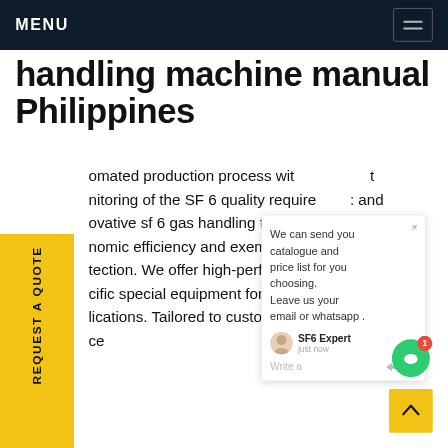MENU
handling machine manual Philippines
automated production process with t monitoring of the SF 6 quality require and ovative sf 6 gas handling to achie est nomic efficiency and exemplary n tection. We offer high-performa er- cific special equipment for GIS, G lications. Tailored to customers' needs. SF 6Get ce
[Figure (screenshot): Chat popup widget showing: 'We can send you catalogue and price list for you choosing. Leave us your email or whatsapp .' with SF6 Expert avatar, 'just now' timestamp, and Write a message input row with thumbs up and attachment icons. Green chat circle icon with red badge showing '1'.]
[Figure (other): Yellow vertical sidebar button with rotated text 'REQUEST A QUOTE']
[Figure (other): Yellow back-to-top button with upward chevron arrow in bottom right corner]